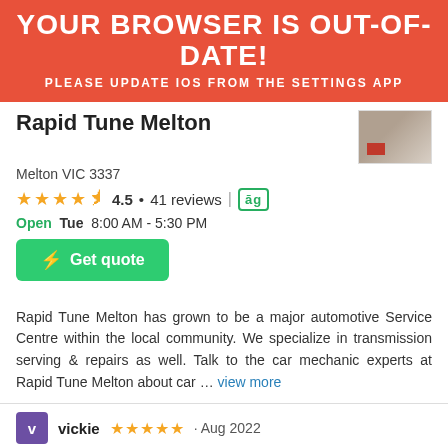YOUR BROWSER IS OUT-OF-DATE! PLEASE UPDATE IOS FROM THE SETTINGS APP
Rapid Tune Melton
Melton VIC 3337
4.5 • 41 reviews
Open  Tue  8:00 AM - 5:30 PM
Get quote
Rapid Tune Melton has grown to be a major automotive Service Centre within the local community. We specialize in transmission serving & repairs as well. Talk to the car mechanic experts at Rapid Tune Melton about car … view more
vickie ★★★★★ · Aug 2022
The young guy who worked on my car was great he did a safety report on what was wrong with the car.